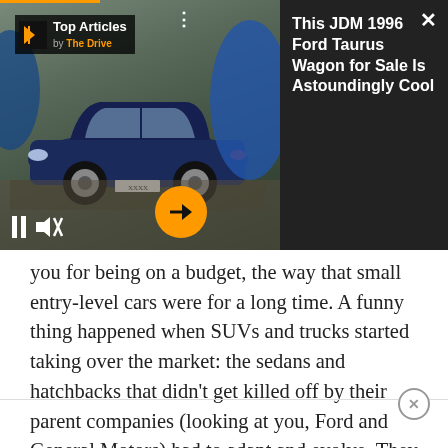[Figure (screenshot): Video advertisement overlay showing a dark blue Ford Taurus wagon parked outdoors near industrial blue tanks, with playback controls (pause, mute), an orange arrow button, a close X, and a 'Top Articles by The Drive' badge. Right panel shows article title on dark background.]
This JDM 1996 Ford Taurus Wagon for Sale Is Astoundingly Cool
you for being on a budget, the way that small entry-level cars were for a long time. A funny thing happened when SUVs and trucks started taking over the market: the sedans and hatchbacks that didn't get killed off by their parent companies (looking at you, Ford and General Motors) had to adapt and evolve. They had to get better and offer their buyers more bang for their buck than ever before.